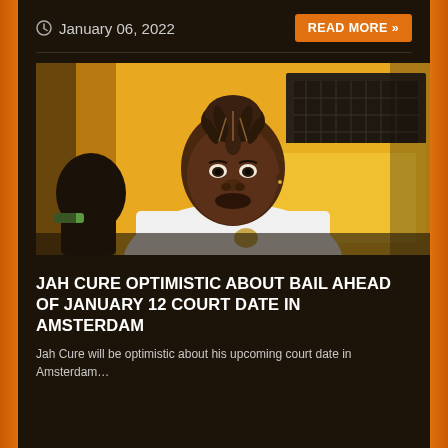January 06, 2022
[Figure (photo): A Black man with locs twisted up into a bun on top of his head, wearing a white t-shirt and a gold chain necklace, seated in front of a yellow background with equipment visible behind him.]
JAH CURE OPTIMISTIC ABOUT BAIL AHEAD OF JANUARY 12 COURT DATE IN AMSTERDAM
Jah Cure will be optimistic about his upcoming court date in Amsterdam